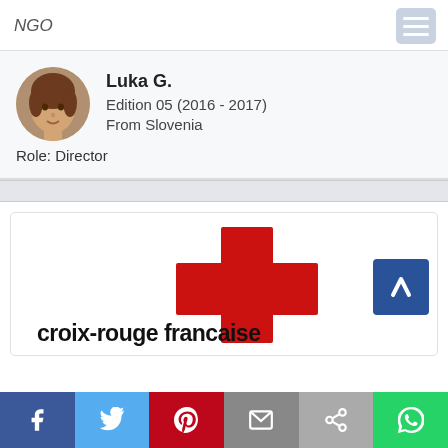NGO
Luka G.
Edition 05 (2016 - 2017)
From Slovenia
Role: Director
[Figure (logo): Croix-Rouge Francaise logo: red cross symbol with text 'croix-rouge francaise']
Social share bar: Facebook, Twitter, Pinterest, Email, Share, WhatsApp